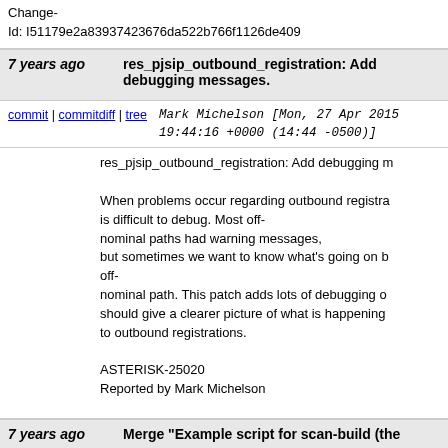Change-Id: I51179e2a83937423676da522b766f1126de409...
7 years ago   res_pjsip_outbound_registration: Add debugging messages.
commit | commitdiff | tree   Mark Michelson [Mon, 27 Apr 2015 19:44:16 +0000 (14:44 -0500)]
res_pjsip_outbound_registration: Add debugging messages.

When problems occur regarding outbound registration, it is difficult to debug. Most off-nominal paths had warning messages, but sometimes we want to know what's going on before hitting an off-nominal path. This patch adds lots of debugging output that should give a clearer picture of what is happening as it relates to outbound registrations.

ASTERISK-25020
Reported by Mark Michelson

Change-Id: I577bde7860be0a6c872b5bcb4d5047340bf45c...
7 years ago   Merge "Example script for scan-build (the...